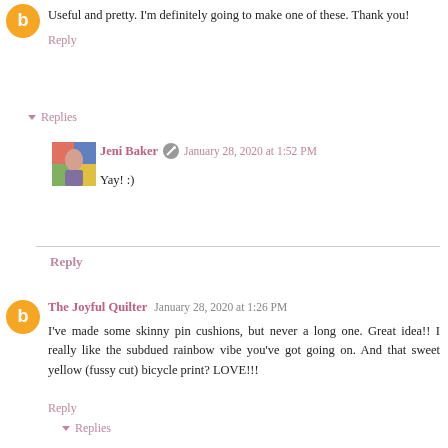Useful and pretty. I'm definitely going to make one of these. Thank you!
Reply
Replies
Jeni Baker  January 28, 2020 at 1:52 PM
Yay! :)
Reply
The Joyful Quilter  January 28, 2020 at 1:26 PM
I've made some skinny pin cushions, but never a long one. Great idea!! I really like the subdued rainbow vibe you've got going on. And that sweet yellow (fussy cut) bicycle print? LOVE!!!
Reply
Replies